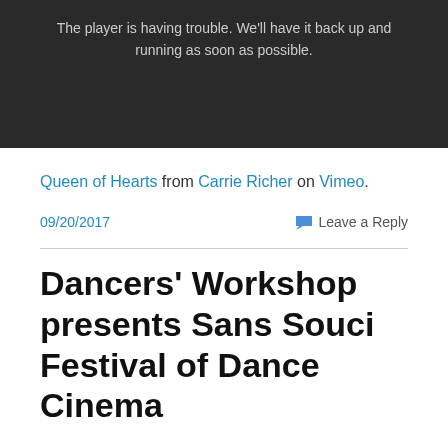[Figure (screenshot): Video player error screen with dark background showing message: 'The player is having trouble. We'll have it back up and running as soon as possible.']
Queen of Hearts from Carrie Richer on Vimeo.
09/20/2017    Leave a Reply
Dancers' Workshop presents Sans Souci Festival of Dance Cinema
Saturday, November 14th, 2015 at the Center for the Arts in Jackson will be exciting!